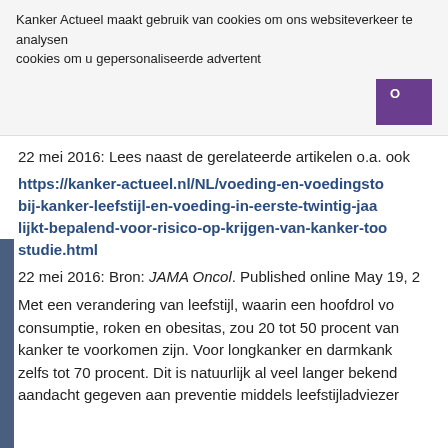Kanker Actueel maakt gebruik van cookies om ons websiteverkeer te analysen cookies om u gepersonaliseerde advertent
22 mei 2016: Lees naast de gerelateerde artikelen o.a. ook
https://kanker-actueel.nl/NL/voeding-en-voedingsto bij-kanker-leefstijl-en-voeding-in-eerste-twintig-jaa lijkt-bepalend-voor-risico-op-krijgen-van-kanker-too studie.html
22 mei 2016: Bron: JAMA Oncol. Published online May 19, 2
Met een verandering van leefstijl, waarin een hoofdrol vo consumptie, roken en obesitas, zou 20 tot 50 procent van kanker te voorkomen zijn. Voor longkanker en darmkank zelfs tot 70 procent. Dit is natuurlijk al veel langer bekend aandacht gegeven aan preventie middels leefstijladviezer